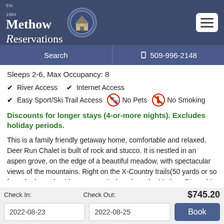[Figure (logo): Methow Reservations logo with house icon in circular seal, white text on dark blue header, hamburger menu button top right]
Search   509-996-2148
Sleeps 2-6, Max Occupancy: 8
✔ River Access   ✔ Internet Access
✔ Easy Sport/Ski Trail Access   [No Pets icon] No Pets   [No Smoking icon] No Smoking
Discounts for longer stays (4-or-more nights). Excludes holiday periods.
This is a family friendly getaway home, comfortable and relaxed. Deer Run Chalet is built of rock and stucco. It is nestled in an aspen grove, on the edge of a beautiful meadow, with spectacular views of the mountains. Right on the X-Country trails(50 yards or so from the house), with a community beach on the Methow River, this chalet is just a short walk or ski from the Mazama Country Store
Check In: 2022-08-23   Check Out: 2022-08-25   $745.20   Book